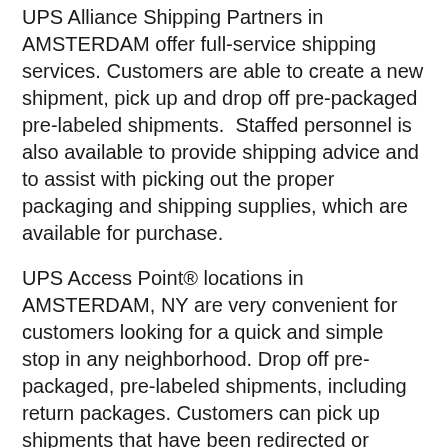UPS Alliance Shipping Partners in AMSTERDAM offer full-service shipping services. Customers are able to create a new shipment, pick up and drop off pre-packaged pre-labeled shipments.  Staffed personnel is also available to provide shipping advice and to assist with picking out the proper packaging and shipping supplies, which are available for purchase.
UPS Access Point® locations in AMSTERDAM, NY are very convenient for customers looking for a quick and simple stop in any neighborhood. Drop off pre-packaged, pre-labeled shipments, including return packages. Customers can pick up shipments that have been redirected or rerouted.
UPS Access Point® lockers in AMSTERDAM are great for customers that need flexible weekend and evening hours. When you can't take time off work or keep an eye out for a delivery truck throughout the day, UPS Access Point Lockers help to make life easier for customers who can't...